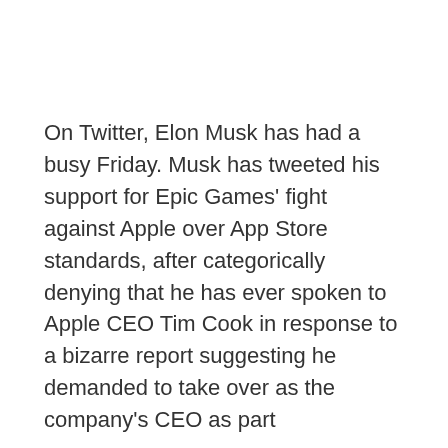On Twitter, Elon Musk has had a busy Friday. Musk has tweeted his support for Epic Games' fight against Apple over App Store standards, after categorically denying that he has ever spoken to Apple CEO Tim Cook in response to a bizarre report suggesting he demanded to take over as the company's CEO as part